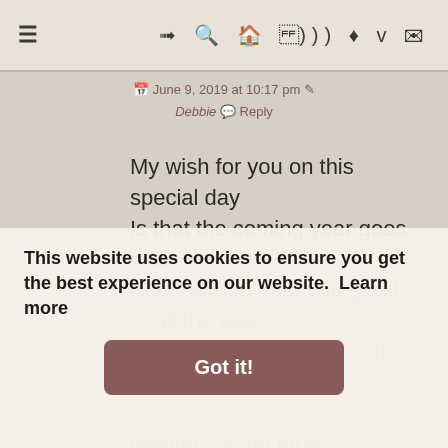≡   ➜ 🔍 ⌂ ))) ♦ f 📷 ✉
📅 June 9, 2019 at 10:17 pm ✏
Debbie 💬 Reply
My wish for you on this special day
Is that the coming year goes well
And may life treat you great
to all the ways
That my wishes and words
can't tell.

Behind you no more yesterday
Let your experience and
This website uses cookies to ensure you get the best experience on our website.  Learn more
Got it!